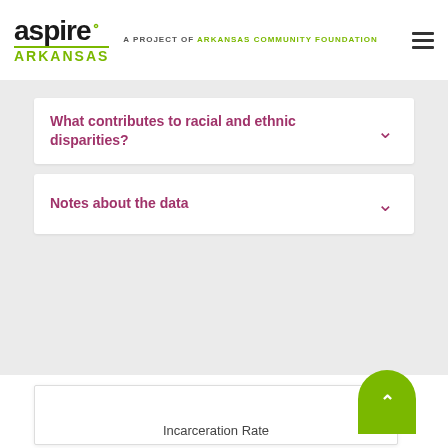aspire ARKANSAS A PROJECT OF ARKANSAS COMMUNITY FOUNDATION
What contributes to racial and ethnic disparities?
Notes about the data
Incarceration Rate